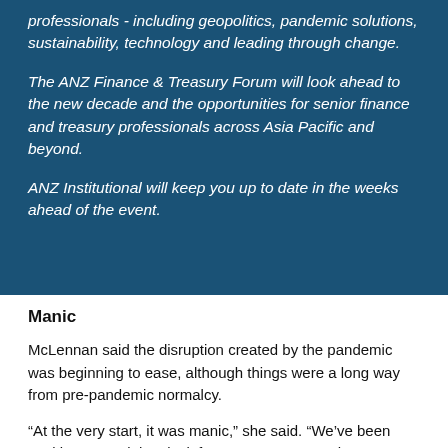professionals - including geopolitics, pandemic solutions, sustainability, technology and leading through change.
The ANZ Finance & Treasury Forum will look ahead to the new decade and the opportunities for senior finance and treasury professionals across Asia Pacific and beyond.
ANZ Institutional will keep you up to date in the weeks ahead of the event.
Manic
McLennan said the disruption created by the pandemic was beginning to ease, although things were a long way from pre-pandemic normalcy.
“At the very start, it was manic,” she said. “We’ve been working around the clock for many, many months.”
“I don’t think we have gone back to the way it used to be. And so we’re just now trying to adjust to what could be the